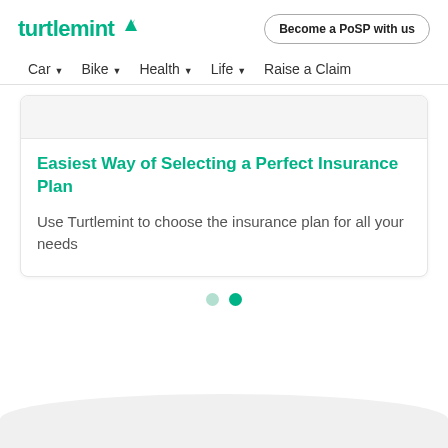turtlemint
Become a PoSP with us
Car  Bike  Health  Life  Raise a Claim
Easiest Way of Selecting a Perfect Insurance Plan
Use Turtlemint to choose the insurance plan for all your needs